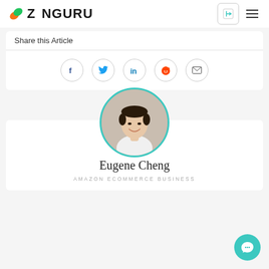[Figure (logo): ZonGuru logo with orange and green leaf icon]
Share this Article
[Figure (infographic): Social share icons: Facebook, Twitter, LinkedIn, Reddit, Email — each in a circle]
[Figure (photo): Circular profile photo of Eugene Cheng with teal border]
Eugene Cheng
AMAZON ECOMMERCE BUSINESS